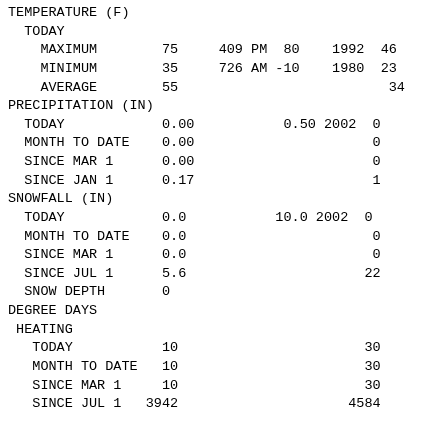TEMPERATURE (F)
  TODAY
    MAXIMUM    75    409 PM  80    1992  46
    MINIMUM    35    726 AM -10    1980  23
    AVERAGE    55                        34
PRECIPITATION (IN)
  TODAY          0.00          0.50 2002  0
  MONTH TO DATE  0.00                    0
  SINCE MAR 1    0.00                    0
  SINCE JAN 1    0.17                    1
SNOWFALL (IN)
  TODAY          0.0          10.0 2002  0
  MONTH TO DATE  0.0                     0
  SINCE MAR 1    0.0                     0
  SINCE JUL 1    5.6                    22
  SNOW DEPTH     0
DEGREE DAYS
 HEATING
   TODAY          10                     30
   MONTH TO DATE  10                     30
   SINCE MAR 1    10                     30
   SINCE JUL 1  3942                   4584